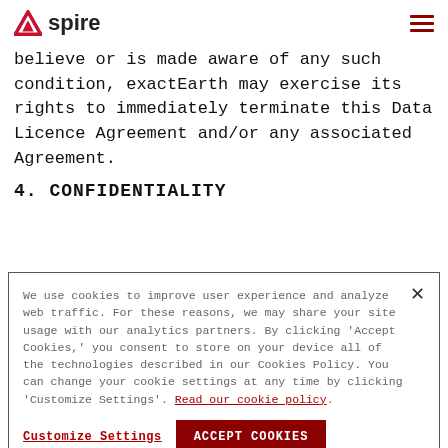Aspire
believe or is made aware of any such condition, exactEarth may exercise its rights to immediately terminate this Data Licence Agreement and/or any associated Agreement.
4. CONFIDENTIALITY
We use cookies to improve user experience and analyze web traffic. For these reasons, we may share your site usage with our analytics partners. By clicking 'Accept Cookies,' you consent to store on your device all of the technologies described in our Cookies Policy. You can change your cookie settings at any time by clicking 'Customize Settings'. Read our cookie policy.
Customize Settings | ACCEPT COOKIES